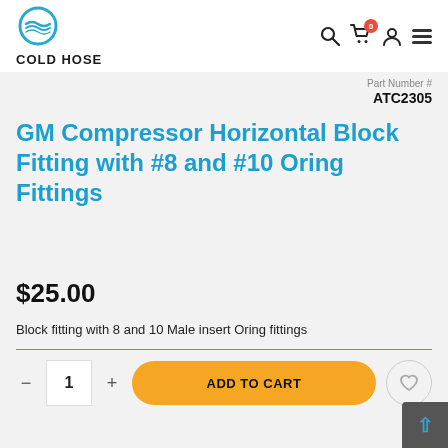COLD HOSE
Part Number # ATC2305
GM Compressor Horizontal Block Fitting with #8 and #10 Oring Fittings
$25.00
Block fitting with 8 and 10 Male insert Oring fittings
ADD TO CART